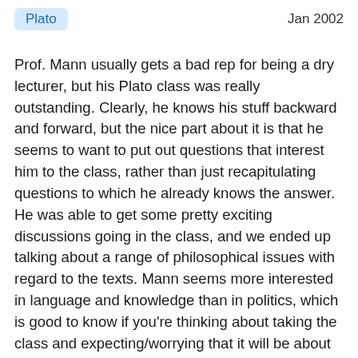Plato
Jan 2002
Prof. Mann usually gets a bad rep for being a dry lecturer, but his Plato class was really outstanding. Clearly, he knows his stuff backward and forward, but the nice part about it is that he seems to want to put out questions that interest him to the class, rather than just recapitulating questions to which he already knows the answer. He was able to get some pretty exciting discussions going in the class, and we ended up talking about a range of philosophical issues with regard to the texts. Mann seems more interested in language and knowledge than in politics, which is good to know if you're thinking about taking the class and expecting/worrying that it will be about how to form a just government or something like that. The paper topics for the final paper, although very straightforward questions, turned out to be quite difficult--not in the tricky way,